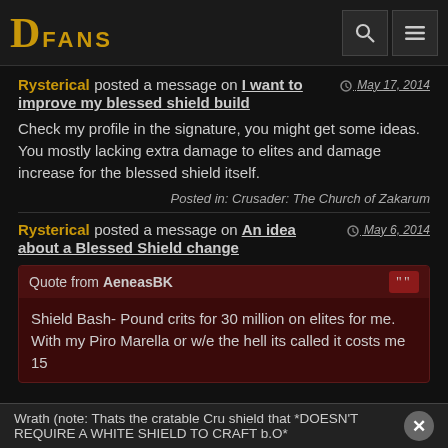DFANS
Rysterical posted a message on I want to improve my blessed shield build — May 17, 2014
Check my profile in the signature, you might get some ideas. You mostly lacking extra damage to elites and damage increase for the blessed shield itself.
Posted in: Crusader: The Church of Zakarum
Rysterical posted a message on An idea about a Blessed Shield change — May 6, 2014
Quote from AeneasBK
Shield Bash- Pound crits for 30 million on elites for me. With my Piro Marella or w/e the hell its called it costs me 15 Wrath (note: Thats the cratable Cru shield that *DOESN'T REQUIRE A WHITE SHIELD TO CRAFT b.O*